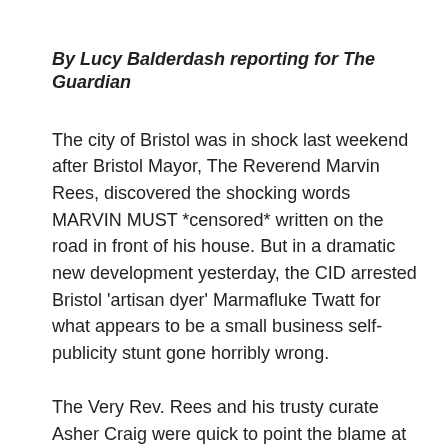By Lucy Balderdash reporting for The Guardian
The city of Bristol was in shock last weekend after Bristol Mayor, The Reverend Marvin Rees, discovered the shocking words MARVIN MUST *censored* written on the road in front of his house. But in a dramatic new development yesterday, the CID arrested Bristol 'artisan dyer' Marmafluke Twatt for what appears to be a small business self-publicity stunt gone horribly wrong.
The Very Rev. Rees and his trusty curate Asher Craig were quick to point the blame at 'a small group' of 'disgusting anarchists' occupying The Bearpit roundabout in the city centre and providing help for Bristol's legions of homeless, accusing these heartless ragamuffins of making a 'sickening racist attack' on The Mayor.
“It’s another attack on me,” said The Reverend from the safety of his office, accompanied by a (cost unknown) outsourced